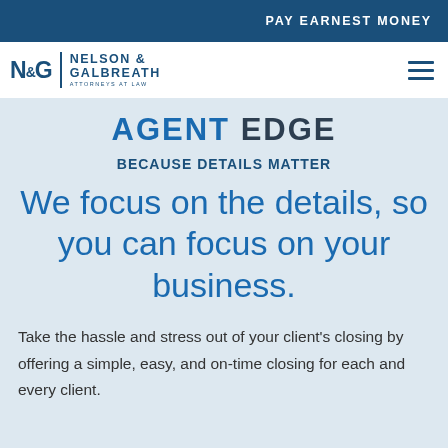PAY EARNEST MONEY
[Figure (logo): Nelson & Galbreath Attorneys at Law logo with N&G monogram]
AGENT EDGE
BECAUSE DETAILS MATTER
We focus on the details, so you can focus on your business.
Take the hassle and stress out of your client's closing by offering a simple, easy, and on-time closing for each and every client.